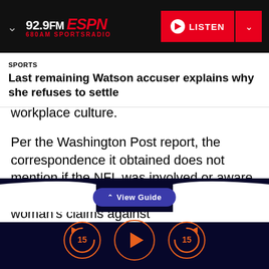92.9FM ESPN 680AM SPORTSRADIO | LISTEN
SPORTS
Last remaining Watson accuser explains why she refuses to settle
workplace culture.
Per the Washington Post report, the correspondence it obtained does not mention if the NFL was involved or aware of the team's investigation into the woman's claims against